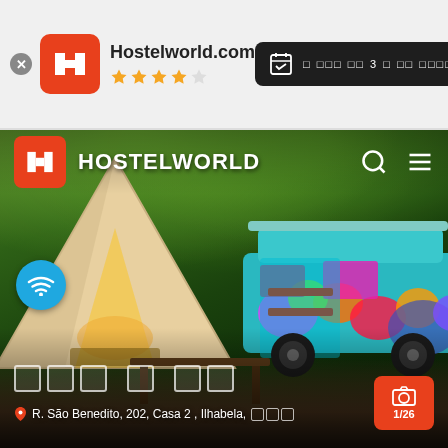[Figure (screenshot): Hostelworld.com browser header with logo, 4-star rating, and dark date selection pill showing calendar icon with box characters and X button]
[Figure (photo): Hostelworld app screenshot showing a hostel property page with Hostelworld branding at top, a large hero photo of a glamping tent and colorful hippie-painted VW bus in a lush green forest setting, WiFi badge, box-character property name, address 'R. São Benedito, 202, Casa 2, Ilhabela' with location pin, and 1/26 photo counter button]